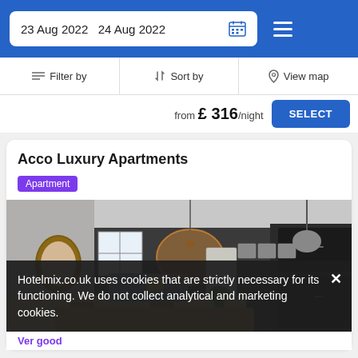23 Aug 2022  24 Aug 2022
Filter by  |  Sort by  |  View map
from £ 316/night  SELECT
Acco Luxury Apartments
Apartment
[Figure (photo): Interior photo of a dark-walled luxury apartment living/dining/kitchen area with pendant lamp, sofa, round mirror, wooden table and dark kitchen cabinetry]
Hotelmix.co.uk uses cookies that are strictly necessary for its functioning. We do not collect analytical and marketing cookies.
Ver good